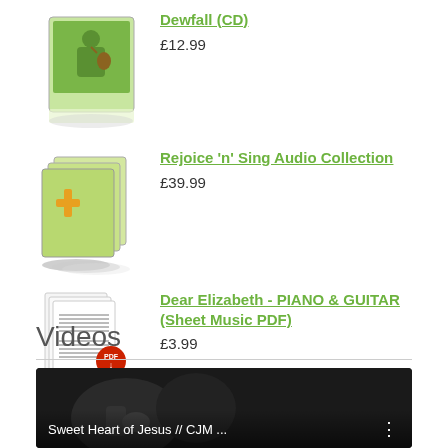[Figure (photo): CD product image for Dewfall]
Dewfall (CD)
£12.99
[Figure (photo): CD collection box set image for Rejoice 'n' Sing Audio Collection]
Rejoice 'n' Sing Audio Collection
£39.99
[Figure (photo): Sheet music PDF product image for Dear Elizabeth]
Dear Elizabeth - PIANO & GUITAR (Sheet Music PDF)
£3.99
Videos
[Figure (screenshot): Video thumbnail showing Sweet Heart of Jesus // CJM ...]